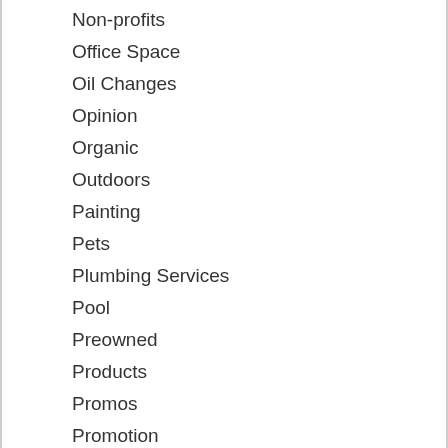Non-profits
Office Space
Oil Changes
Opinion
Organic
Outdoors
Painting
Pets
Plumbing Services
Pool
Preowned
Products
Promos
Promotion
Promotion - Advertising